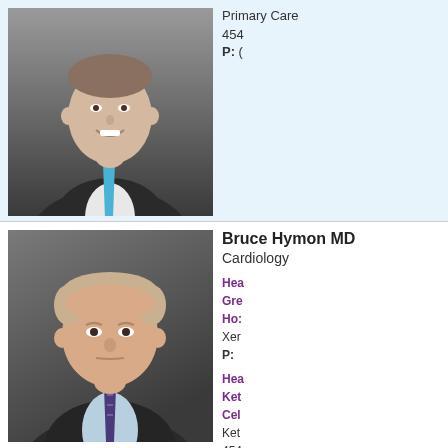[Figure (photo): Professional headshot of a smiling man in a dark suit with a blue tie]
Primary Care
454
P: (
[Figure (photo): Professional headshot of Bruce Hymon MD, a man in a dark suit with patterned tie]
Bruce Hymon MD
Cardiology
Hea
Gre
Ho:
Xer
P:
Hea
Ket
Cel
Ket
454